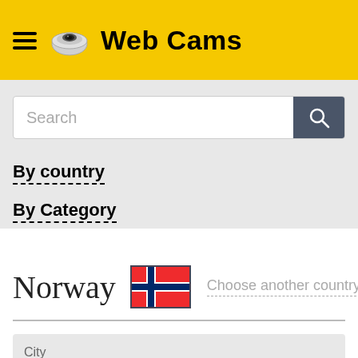Web Cams
Search
By country
By Category
Norway
Choose another country
City
Mountains